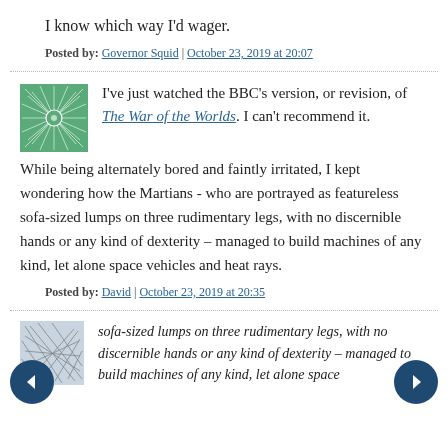I know which way I'd wager.
Posted by: Governor Squid | October 23, 2019 at 20:07
I've just watched the BBC's version, or revision, of The War of the Worlds. I can't recommend it. While being alternately bored and faintly irritated, I kept wondering how the Martians - who are portrayed as featureless sofa-sized lumps on three rudimentary legs, with no discernible hands or any kind of dexterity – managed to build machines of any kind, let alone space vehicles and heat rays.
Posted by: David | October 23, 2019 at 20:35
sofa-sized lumps on three rudimentary legs, with no discernible hands or any kind of dexterity – managed to build machines of any kind, let alone space